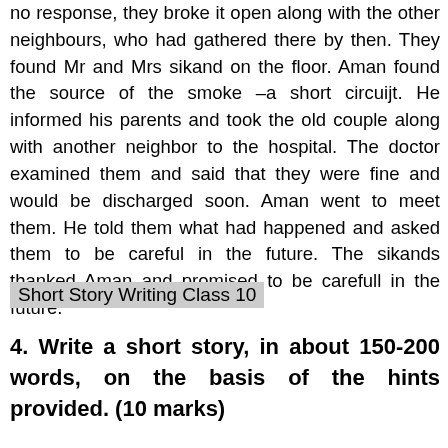no response, they broke it open along with the other neighbours, who had gathered there by then. They found Mr and Mrs sikand on the floor. Aman found the source of the smoke –a short circuijt. He informed his parents and took the old couple along with another neighbor to the hospital. The doctor examined them and said that they were fine and would be discharged soon. Aman went to meet them. He told them what had happened and asked them to be careful in the future. The sikands thanked Aman and promised to be carefull in the future.
Short Story Writing Class 10
4. Write a short story, in about 150-200 words, on the basis of the hints provided. (10 marks)